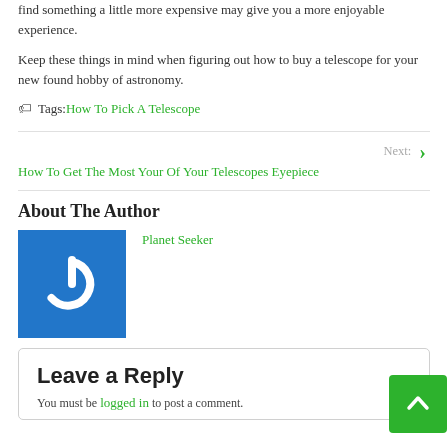find something a little more expensive may give you a more enjoyable experience.
Keep these things in mind when figuring out how to buy a telescope for your new found hobby of astronomy.
Tags: How To Pick A Telescope
Next: How To Get The Most Your Of Your Telescopes Eyepiece
About The Author
[Figure (logo): Blue square with white power button icon - Planet Seeker author avatar]
Planet Seeker
Leave a Reply
You must be logged in to post a comment.